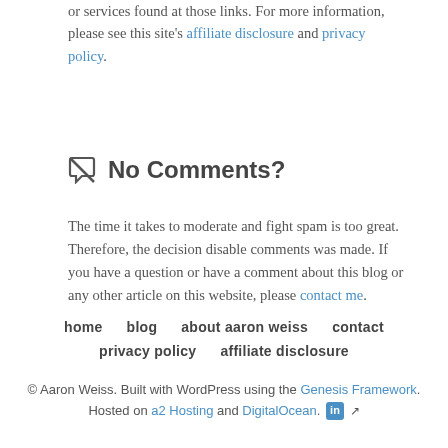or services found at those links. For more information, please see this site's affiliate disclosure and privacy policy.
No Comments?
The time it takes to moderate and fight spam is too great. Therefore, the decision disable comments was made. If you have a question or have a comment about this blog or any other article on this website, please contact me.
home  blog  about aaron weiss  contact  privacy policy  affiliate disclosure
© Aaron Weiss. Built with WordPress using the Genesis Framework. Hosted on a2 Hosting and DigitalOcean.